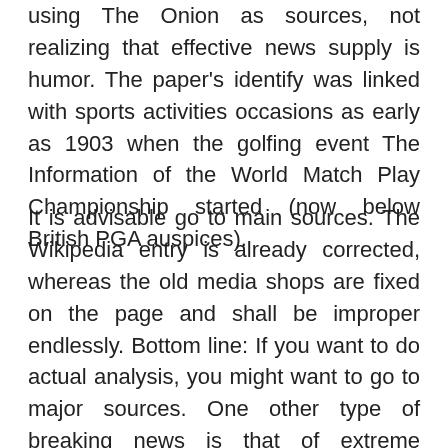using The Onion as sources, not realizing that effective news supply is humor. The paper's identify was linked with sports activities occasions as early as 1903 when the golfing event The Information of the World Match Play Championship started (now below British PGA auspices).
It is advisable go to main sources. The Wikipedia entry is already corrected, whereas the old media shops are fixed on the page and shall be improper endlessly. Bottom line: If you want to do actual analysis, you might want to go to major sources. One other type of breaking news is that of extreme weather occasions, which had such coverage evolve in a very related manner.